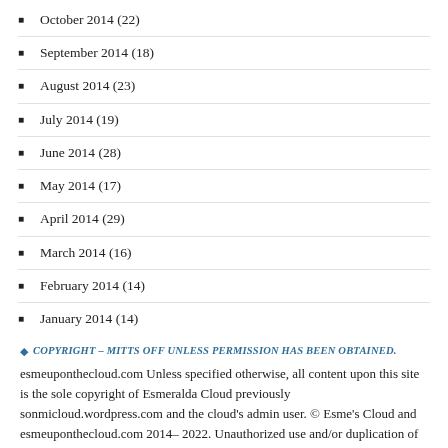October 2014 (22)
September 2014 (18)
August 2014 (23)
July 2014 (19)
June 2014 (28)
May 2014 (17)
April 2014 (29)
March 2014 (16)
February 2014 (14)
January 2014 (14)
COPYRIGHT – MITTS OFF UNLESS PERMISSION HAS BEEN OBTAINED.
esmeuponthecloud.com Unless specified otherwise, all content upon this site is the sole copyright of Esmeralda Cloud previously sonmicloud.wordpress.com and the cloud's admin user. © Esme's Cloud and esmeuponthecloud.com 2014– 2022. Unauthorized use and/or duplication of this material without express and written permission from this blog's author and/or owner is strictly prohibited. Excerpts and links may be used, provided that full and